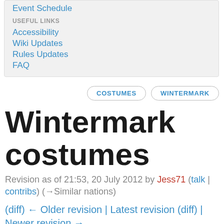Event Schedule
USEFUL LINKS
Accessibility
Wiki Updates
Rules Updates
FAQ
COSTUMES   WINTERMARK
Wintermark costumes
Revision as of 21:53, 20 July 2012 by Jess71 (talk | contribs) (→Similar nations)
(diff) ← Older revision | Latest revision (diff) | Newer revision →